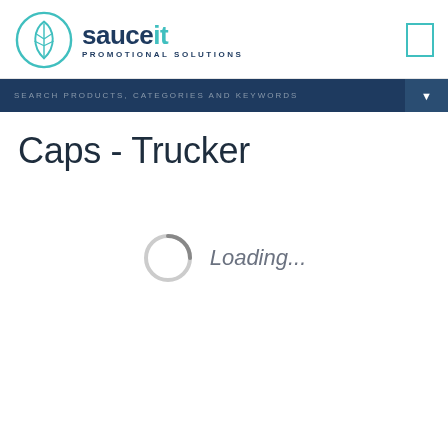[Figure (logo): Sauce It Promotional Solutions logo with teal leaf-in-circle icon and dark navy wordmark]
SEARCH PRODUCTS, CATEGORIES AND KEYWORDS
Caps - Trucker
Loading...